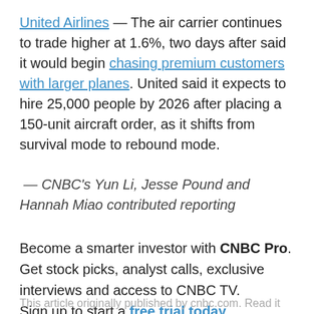United Airlines — The air carrier continues to trade higher at 1.6%, two days after said it would begin chasing premium customers with larger planes. United said it expects to hire 25,000 people by 2026 after placing a 150-unit aircraft order, as it shifts from survival mode to rebound mode.
— CNBC's Yun Li, Jesse Pound and Hannah Miao contributed reporting
Become a smarter investor with CNBC Pro. Get stock picks, analyst calls, exclusive interviews and access to CNBC TV. Sign up to start a free trial today
This article originally published by cnbc.com. Read it